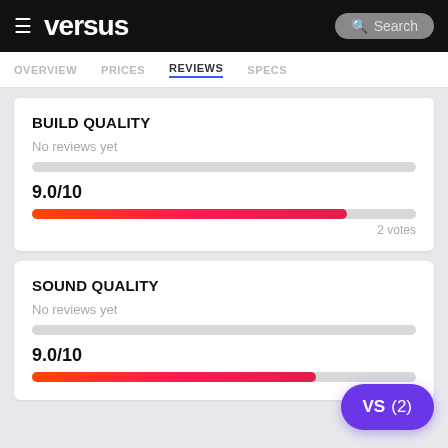versus — Search
OVERVIEW  PRICES  REVIEWS  SPECS
BUILD QUALITY
No reviews yet
9.0/10
2 votes
SOUND QUALITY
No reviews yet
9.0/10
VS (2)